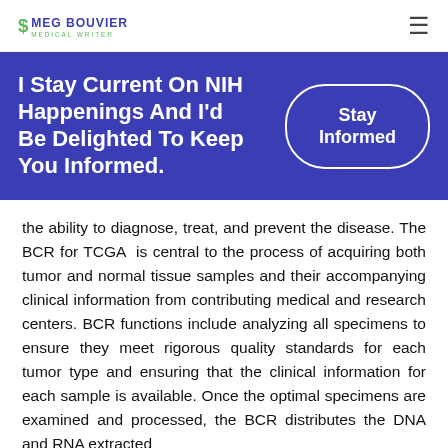MEG BOUVIER MEDICAL WRITER
I Stay Current On NIH Happenings And I'd Be Delighted To Keep You Informed.
Stay Informed
the ability to diagnose, treat, and prevent the disease. The BCR for TCGA is central to the process of acquiring both tumor and normal tissue samples and their accompanying clinical information from contributing medical and research centers. BCR functions include analyzing all specimens to ensure they meet rigorous quality standards for each tumor type and ensuring that the clinical information for each sample is available. Once the optimal specimens are examined and processed, the BCR distributes the DNA and RNA extracted